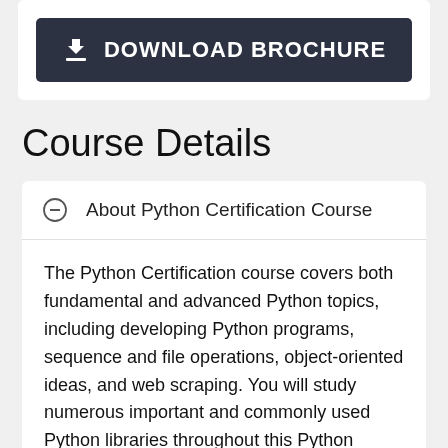[Figure (other): Dark download brochure button with download icon and text 'DOWNLOAD BROCHURE']
Course Details
About Python Certification Course
The Python Certification course covers both fundamental and advanced Python topics, including developing Python programs, sequence and file operations, object-oriented ideas, and web scraping. You will study numerous important and commonly used Python libraries throughout this Python training, including Pandas, NumPy, and Matplotlib, among others.